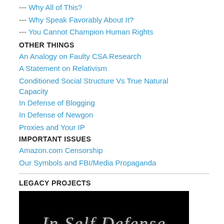--- Why All of This?
--- Why Speak Favorably About It?
--- You Cannot Champion Human Rights
OTHER THINGS
An Analogy on Faulty CSA Research
A Statement on Relativism
Conditioned Social Structure Vs True Natural Capacity
In Defense of Blogging
In Defense of Newgon
Proxies and Your IP
IMPORTANT ISSUES
Amazon.com Censorship
Our Symbols and FBI/Media Propaganda
LEGACY PROJECTS
[Figure (photo): Book cover image with black background showing title 'In Self Defense' and partial subtitle below in grey serif text]